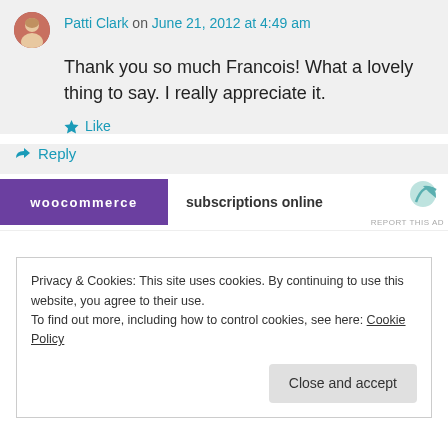Patti Clark on June 21, 2012 at 4:49 am
Thank you so much Francois! What a lovely thing to say. I really appreciate it.
★ Like
↪ Reply
[Figure (screenshot): WooCommerce ad banner with purple logo and text 'subscriptions online']
Privacy & Cookies: This site uses cookies. By continuing to use this website, you agree to their use.
To find out more, including how to control cookies, see here: Cookie Policy
Close and accept